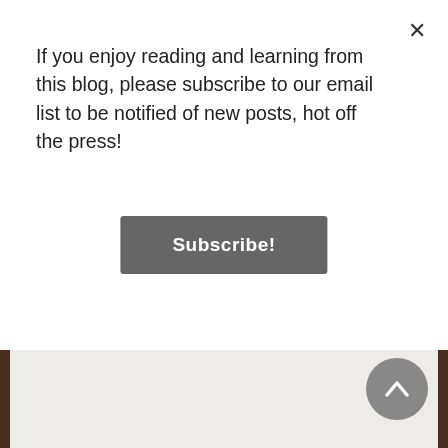If you enjoy reading and learning from this blog, please subscribe to our email list to be notified of new posts, hot off the press!
Subscribe!
Therefore, the bee's eyes act as a solar compass that tracks the exact location of the sun in real-time.
Bees have a finely-tuned internal clock that allows them to predict exactly where the sun should be depending on time, season and latitude, as the sun moves through the sky.
Another point of reference that is used in the bees' language is gravity. Gravity is a constant that does not change, meaning all bees know which direction is "up" and which is "down". This